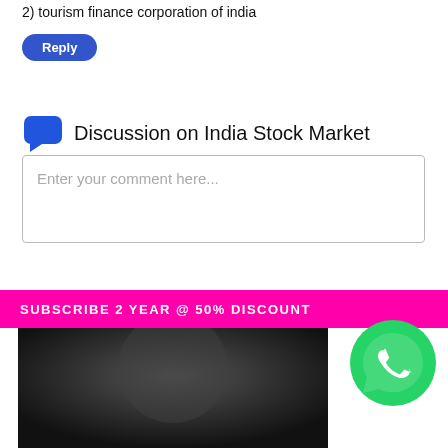2) tourism finance corporation of india
Reply
Discussion on India Stock Market
Enter your comment here...
SUBSCRIBE 2 YEAR @ 50% DISCOUNT
[Figure (photo): Black and white photo of a person with overlaid text 'The stock market is a device for']
[Figure (logo): WhatsApp green logo icon]